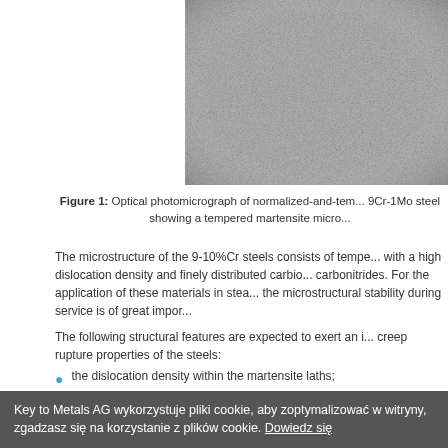[Figure (photo): Optical photomicrograph of normalized-and-tempered 9Cr-1Mo steel showing a tempered martensite microstructure. Grayscale image showing grain/lath structure.]
Figure 1: Optical photomicrograph of normalized-and-tempered 9Cr-1Mo steel showing a tempered martensite micro...
The microstructure of the 9-10%Cr steels consists of tempered martensite with a high dislocation density and finely distributed carbides and carbonitrides. For the application of these materials in steam turbines, the microstructural stability during service is of great importance.
The following structural features are expected to exert an influence on the creep rupture properties of the steels:
the dislocation density within the martensite laths;
polygonization conditions of the subgrains;
Key to Metals AG wykorzystuje pliki cookie, aby zoptymalizować w... witryny, zgadzasz się na korzystanie z plików cookie. Dowiedz się...